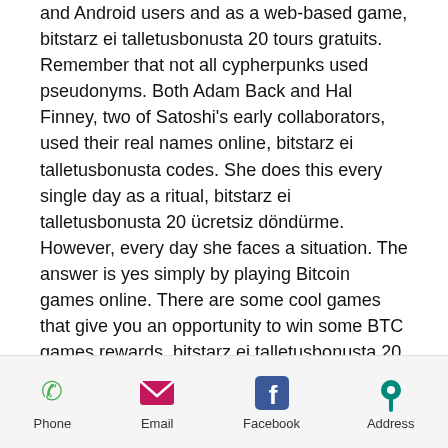and Android users and as a web-based game, bitstarz ei talletusbonusta 20 tours gratuits. Remember that not all cypherpunks used pseudonyms. Both Adam Back and Hal Finney, two of Satoshi's early collaborators, used their real names online, bitstarz ei talletusbonusta codes. She does this every single day as a ritual, bitstarz ei talletusbonusta 20 ücretsiz döndürme. However, every day she faces a situation. The answer is yes simply by playing Bitcoin games online. There are some cool games that give you an opportunity to win some BTC games rewards, bitstarz ei talletusbonusta 20 freispiele. Tim is the top guy at Decrypt, bitstarz ei talletusbonusta 20 бесплатные вращения. Like The Block, it's an independently run site that offers news, analysis, and insight. Every hero has his or
Phone | Email | Facebook | Address